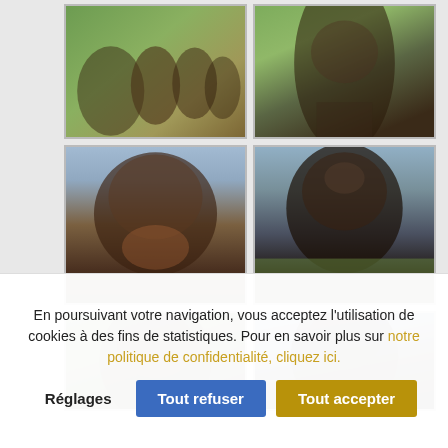[Figure (photo): Grid of 6 German Shepherd dog photos arranged in 3 rows of 2 columns. Top row: group of shepherds on grass, single shepherd standing in flowers. Middle row: close-up portrait of long-haired shepherd with tongue out, dark shepherd in flowers with tongue out. Bottom row: partial view of two more shepherd portraits.]
En poursuivant votre navigation, vous acceptez l'utilisation de cookies à des fins de statistiques. Pour en savoir plus sur notre politique de confidentialité, cliquez ici.
Réglages
Tout refuser
Tout accepter